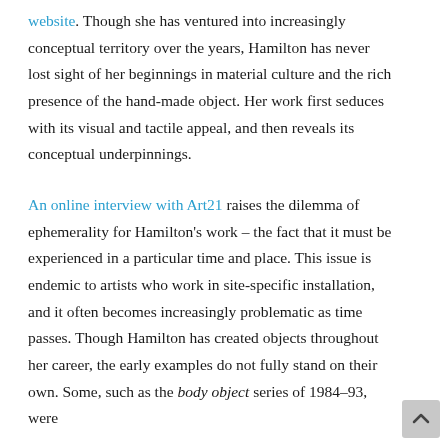website. Though she has ventured into increasingly conceptual territory over the years, Hamilton has never lost sight of her beginnings in material culture and the rich presence of the hand-made object. Her work first seduces with its visual and tactile appeal, and then reveals its conceptual underpinnings.

An online interview with Art21 raises the dilemma of ephemerality for Hamilton's work – the fact that it must be experienced in a particular time and place. This issue is endemic to artists who work in site-specific installation, and it often becomes increasingly problematic as time passes. Though Hamilton has created objects throughout her career, the early examples do not fully stand on their own. Some, such as the body object series of 1984–93, were